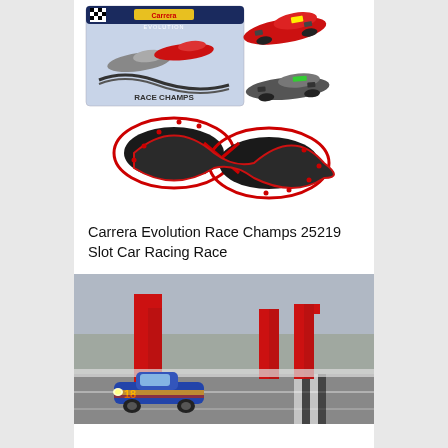[Figure (photo): Carrera Evolution Race Champs 25219 slot car racing set product image showing the box, two F1 cars (Ferrari red and Mercedes silver), and a figure-8 track layout]
Carrera Evolution Race Champs 25219 Slot Car Racing Race
[Figure (photo): A blue slot car racing on a track with red arch structures and barriers in the background, headlights on]